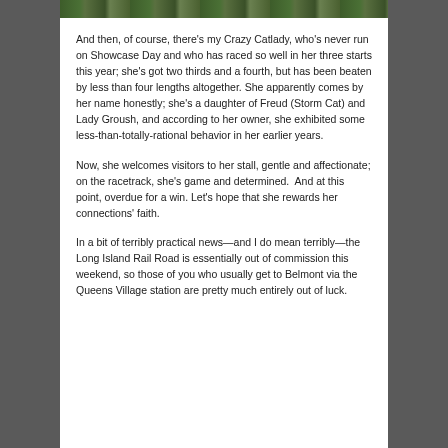[Figure (photo): Partial photo strip at top of page showing outdoor/nature scene with greenery]
And then, of course, there's my Crazy Catlady, who's never run on Showcase Day and who has raced so well in her three starts this year; she's got two thirds and a fourth, but has been beaten by less than four lengths altogether. She apparently comes by her name honestly; she's a daughter of Freud (Storm Cat) and Lady Groush, and according to her owner, she exhibited some less-than-totally-rational behavior in her earlier years.
Now, she welcomes visitors to her stall, gentle and affectionate; on the racetrack, she's game and determined.  And at this point, overdue for a win. Let's hope that she rewards her connections' faith.
In a bit of terribly practical news—and I do mean terribly—the Long Island Rail Road is essentially out of commission this weekend, so those of you who usually get to Belmont via the Queens Village station are pretty much entirely out of luck.